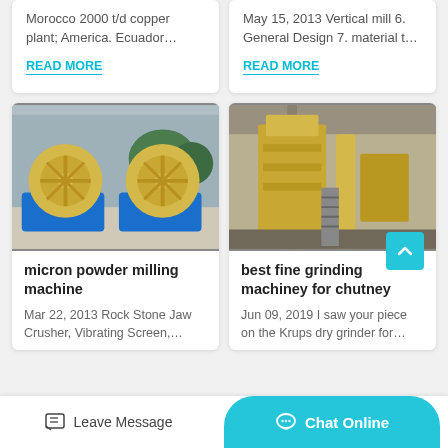Morocco 2000 t/d copper plant; America. Ecuador…
READ MORE
May 15, 2013 Vertical mill 6. General Design 7. material t…
READ MORE
[Figure (photo): Two large yellow wheel-shaped sand washing machines with blue metal bases, outdoors in an industrial yard.]
micron powder milling machine
Mar 22, 2013 Rock Stone Jaw Crusher, Vibrating Screen,…
[Figure (photo): Yellow industrial grinding/milling machine equipment inside a large industrial building or warehouse.]
best fine grinding machiney for chutney
Jun 09, 2019 I saw your piece on the Krups dry grinder for…
Leave Message
Chat Online